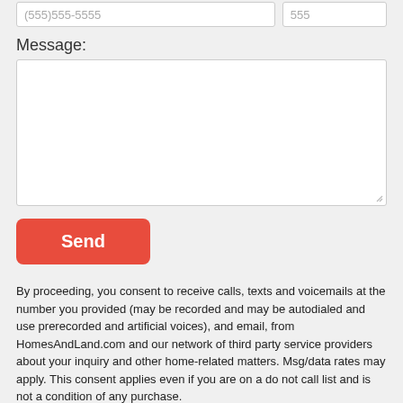[Figure (screenshot): Two form input fields side by side: a phone number field with placeholder '(555)555-5555' and an extension field with placeholder '555']
Message:
[Figure (screenshot): A large empty textarea for entering a message, with a resize handle in the bottom-right corner]
[Figure (screenshot): A red 'Send' button with rounded corners]
By proceeding, you consent to receive calls, texts and voicemails at the number you provided (may be recorded and may be autodialed and use prerecorded and artificial voices), and email, from HomesAndLand.com and our network of third party service providers about your inquiry and other home-related matters. Msg/data rates may apply. This consent applies even if you are on a do not call list and is not a condition of any purchase.
Offered by: